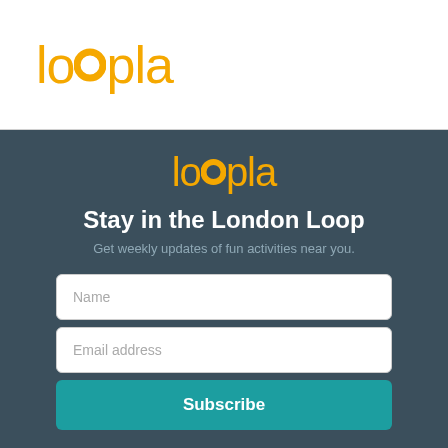[Figure (logo): Loopla logo in orange/amber color on white background header bar]
[Figure (logo): Loopla logo in orange/amber color on dark background]
Stay in the London Loop
Get weekly updates of fun activities near you.
Name
Email address
Subscribe
Invite Friends